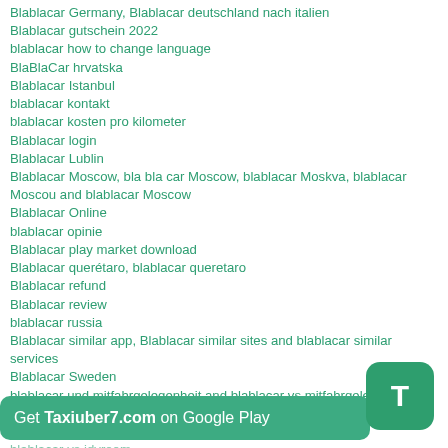Blablacar Germany, Blablacar deutschland nach italien
Blablacar gutschein 2022
blablacar how to change language
BlaBlaCar hrvatska
Blablacar Istanbul
blablacar kontakt
blablacar kosten pro kilometer
Blablacar login
Blablacar Lublin
Blablacar Moscow, bla bla car Moscow, blablacar Moskva, blablacar Moscou and blablacar Moscow
Blablacar Online
blablacar opinie
Blablacar play market download
Blablacar querétaro, blablacar queretaro
Blablacar refund
Blablacar review
blablacar russia
Blablacar similar app, Blablacar similar sites and blablacar similar services
Blablacar Sweden
blablacar und mitfahrgelegenheit and blablacar vs mitfahrgelegenheit
blablacar unknown error
blablacar vs amovens
blablacar vs idyroom
Get Taxiuber7.com on Google Play